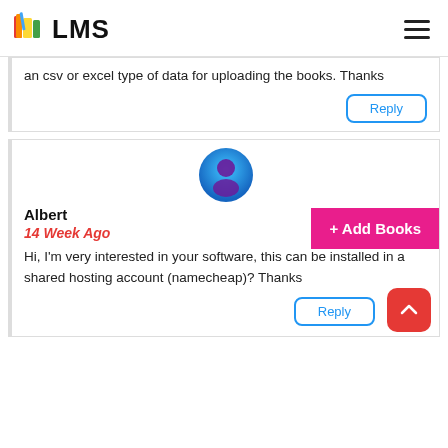LMS
an csv or excel type of data for uploading the books. Thanks
Reply
[Figure (illustration): Blue and purple user avatar icon circle]
Albert
14 Week Ago
+ Add Books
Hi, I'm very interested in your software, this can be installed in a shared hosting account (namecheap)? Thanks
Reply